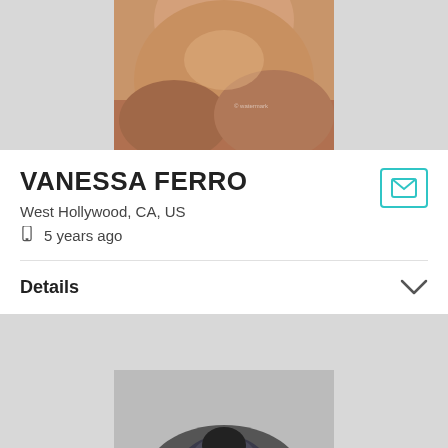[Figure (photo): Partial headshot photo of Vanessa Ferro showing lower face and hair, auburn/brown hair, on gray background]
VANESSA FERRO
West Hollywood, CA, US
5 years ago
[Figure (other): Email/envelope icon in teal/cyan color]
Details
[Figure (photo): Partial headshot photo of a second person showing top of head with dark hair, on gray background]